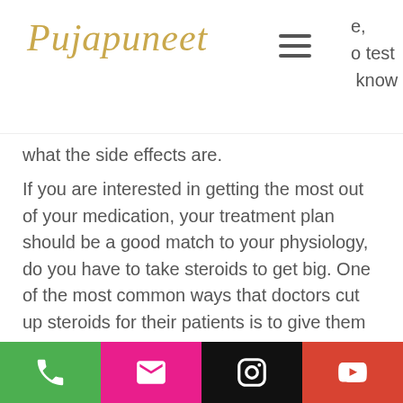Pujapuneet [logo] [hamburger menu]
what the side effects are.
If you are interested in getting the most out of your medication, your treatment plan should be a good match to your physiology, do you have to take steroids to get big. One of the most common ways that doctors cut up steroids for their patients is to give them up on the dose until they get a suitable response so that the patient gets better. However, I would prefer to go with an exact dosage which is the most optimal for you.
It goes without saying that you will want to read my article on optimal dosages when it comes to cutting, best sarm for fat loss. It will
[phone] [email] [instagram] [youtube]